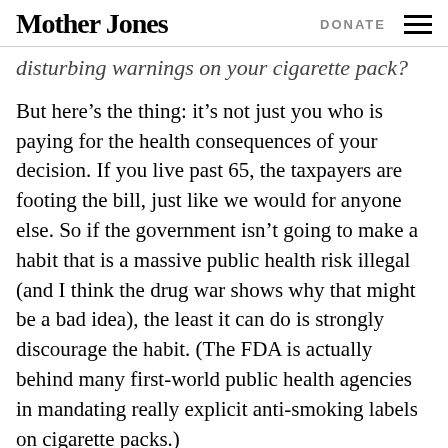Mother Jones  DONATE
...y...p...g...p... disturbing warnings on your cigarette pack?
But here’s the thing: it’s not just you who is paying for the health consequences of your decision. If you live past 65, the taxpayers are footing the bill, just like we would for anyone else. So if the government isn’t going to make a habit that is a massive public health risk illegal (and I think the drug war shows why that might be a bad idea), the least it can do is strongly discourage the habit. (The FDA is actually behind many first-world public health agencies in mandating really explicit anti-smoking labels on cigarette packs.)
I recently finished Siddhartha Mukherjee’s The...